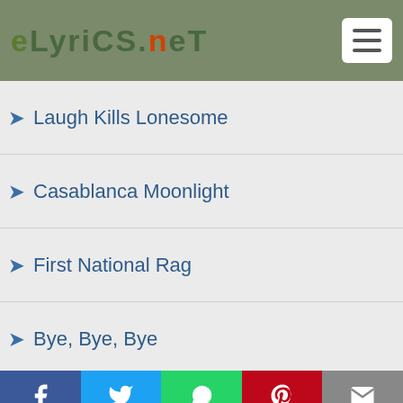eLyrics.net
Laugh Kills Lonesome
Casablanca Moonlight
First National Rag
Bye, Bye, Bye
Thanx For The Ride
Dedicated Friend
Dance Between The Raindrops
Marie's Theme
Rays
Social share bar: Facebook, Twitter, WhatsApp, Pinterest, Email